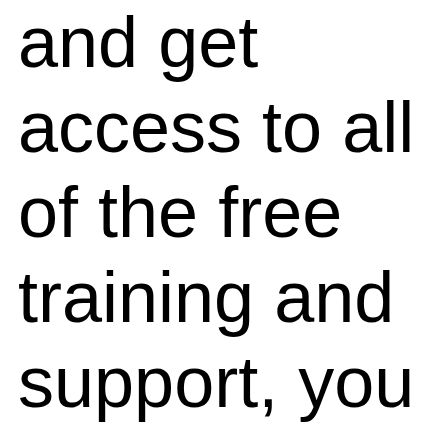and get access to all of the free training and support, you can use as much or as little as you